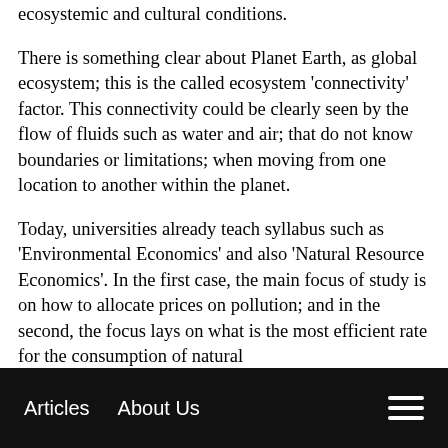ecosystemic and cultural conditions.
There is something clear about Planet Earth, as global ecosystem; this is the called ecosystem 'connectivity' factor. This connectivity could be clearly seen by the flow of fluids such as water and air; that do not know boundaries or limitations; when moving from one location to another within the planet.
Today, universities already teach syllabus such as 'Environmental Economics' and also 'Natural Resource Economics'. In the first case, the main focus of study is on how to allocate prices on pollution; and in the second, the focus lays on what is the most efficient rate for the consumption of natural
Articles   About Us